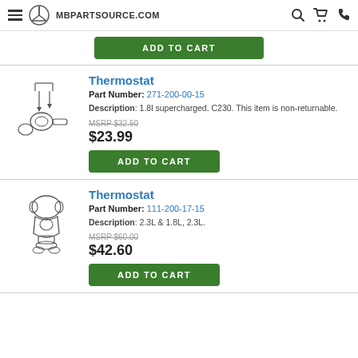MBPARTSOURCE.COM
[Figure (other): ADD TO CART green button (top, partial product above)]
Thermostat
Part Number: 271-200-00-15
Description: 1.8l supercharged. C230. This item is non-returnable.
MSRP $32.50
$23.99
[Figure (illustration): Line drawing of thermostat components with arrows showing assembly]
[Figure (other): ADD TO CART green button]
Thermostat
Part Number: 111-200-17-15
Description: 2.3L & 1.8L, 2.3L.
MSRP $60.00
$42.60
[Figure (illustration): Line drawing of thermostat housing assembly]
[Figure (other): ADD TO CART green button (partially visible at bottom)]